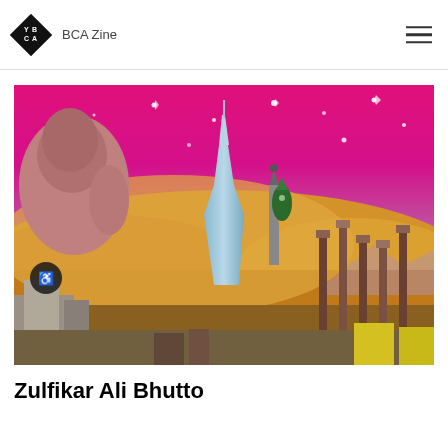YBCA Zine
[Figure (illustration): Digital collage artwork featuring a surreal landscape with a pink/magenta starry sky, desert sand dunes, the Burj Khalifa skyscraper, ancient columns, a giant stone figure on the left, a rocket or missile flying through the sky, and various architectural elements from different cultures combined into a single dreamlike cityscape.]
Zulfikar Ali Bhutto